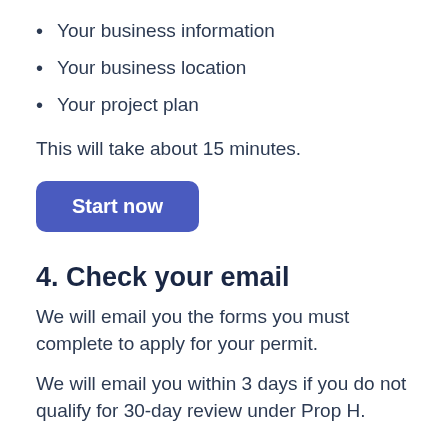Your business information
Your business location
Your project plan
This will take about 15 minutes.
[Figure (other): Blue 'Start now' button with rounded corners]
4. Check your email
We will email you the forms you must complete to apply for your permit.
We will email you within 3 days if you do not qualify for 30-day review under Prop H.